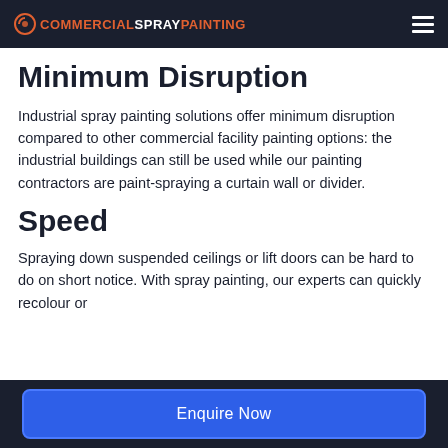COMMERCIALSPRAYPAINTING
Minimum Disruption
Industrial spray painting solutions offer minimum disruption compared to other commercial facility painting options: the industrial buildings can still be used while our painting contractors are paint-spraying a curtain wall or divider.
Speed
Spraying down suspended ceilings or lift doors can be hard to do on short notice. With spray painting, our experts can quickly recolour or
Enquire Now